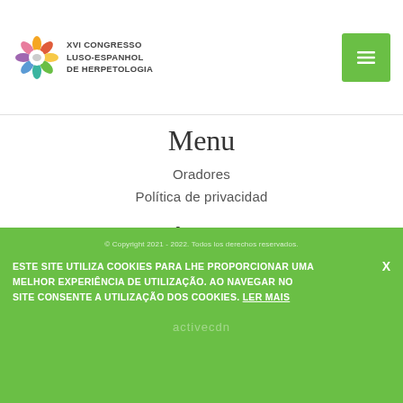XVI CONGRESSO LUSO-ESPANHOL DE HERPETOLOGIA
Menu
Oradores
Política de privacidad
Síganos
[Figure (other): Facebook icon box with letter f]
© Copyright 2021 - 2022. Todos los derechos reservados. ESTE SITE UTILIZA COOKIES PARA LHE PROPORCIONAR UMA MELHOR EXPERIÊNCIA DE UTILIZAÇÃO. AO NAVEGAR NO SITE CONSENTE A UTILIZAÇÃO DOS COOKIES. LER MAIS X